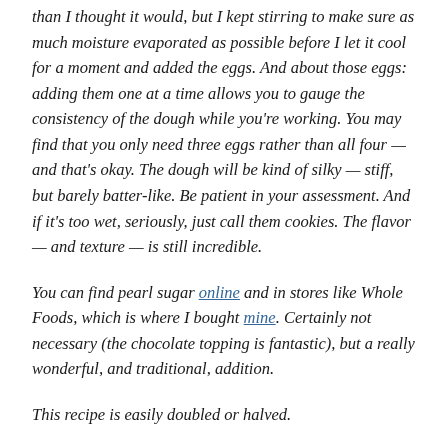than I thought it would, but I kept stirring to make sure as much moisture evaporated as possible before I let it cool for a moment and added the eggs. And about those eggs: adding them one at a time allows you to gauge the consistency of the dough while you're working. You may find that you only need three eggs rather than all four — and that's okay. The dough will be kind of silky — stiff, but barely batter-like. Be patient in your assessment. And if it's too wet, seriously, just call them cookies. The flavor — and texture — is still incredible.
You can find pearl sugar online and in stores like Whole Foods, which is where I bought mine. Certainly not necessary (the chocolate topping is fantastic), but a really wonderful, and traditional, addition.
This recipe is easily doubled or halved.
Makes about 32 puffs, give or take